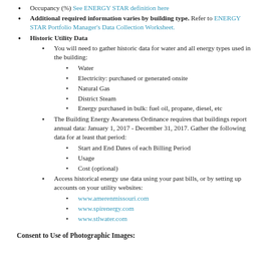Occupancy (%) See ENERGY STAR definition here
Additional required information varies by building type. Refer to ENERGY STAR Portfolio Manager's Data Collection Worksheet.
Historic Utility Data
You will need to gather historic data for water and all energy types used in the building:
Water
Electricity: purchased or generated onsite
Natural Gas
District Steam
Energy purchased in bulk: fuel oil, propane, diesel, etc
The Building Energy Awareness Ordinance requires that buildings report annual data: January 1, 2017 - December 31, 2017. Gather the following data for at least that period:
Start and End Dates of each Billing Period
Usage
Cost (optional)
Access historical energy use data using your past bills, or by setting up accounts on your utility websites:
www.amerenmissouri.com
www.spirenergy.com
www.stlwater.com
Consent to Use of Photographic Images: